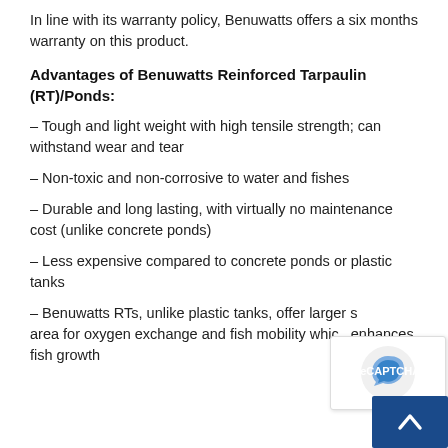In line with its warranty policy, Benuwatts offers a six months warranty on this product.
Advantages of Benuwatts Reinforced Tarpaulin (RT)/Ponds:
– Tough and light weight with high tensile strength; can withstand wear and tear
– Non-toxic and non-corrosive to water and fishes
– Durable and long lasting, with virtually no maintenance cost (unlike concrete ponds)
– Less expensive compared to concrete ponds or plastic tanks
– Benuwatts RTs, unlike plastic tanks, offer larger surface area for oxygen exchange and fish mobility which enhances fish growth